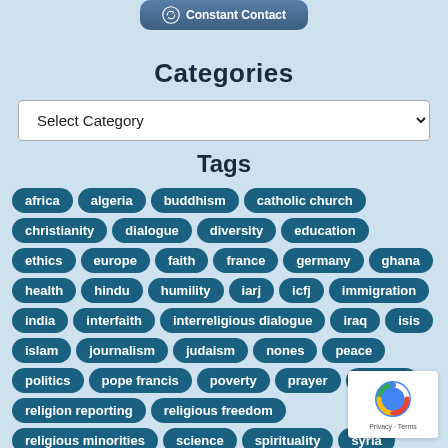[Figure (logo): Constant Contact button/logo with circular icon]
Categories
Select Category (dropdown)
Tags
africa
algeria
buddhism
catholic church
christianity
dialogue
diversity
education
ethics
europe
faith
france
germany
ghana
health
hindu
humility
iarj
icfj
immigration
india
interfaith
interreligious dialogue
iraq
isis
islam
journalism
judaism
nones
peace
politics
pope francis
poverty
prayer
religion
religion reporting
religious freedom
religious minorities
science
spirituality
syria
tips for reporting
trust
turkey
vatican